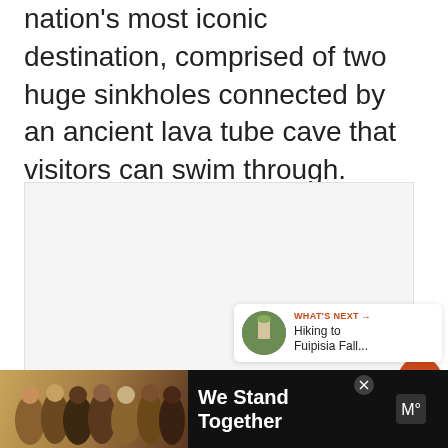nation's most iconic destination, comprised of two huge sinkholes connected by an ancient lava tube cave that visitors can swim through.
[Figure (photo): Large image placeholder area with three gray dots indicating a loading or carousel state]
2.9K
WHAT'S NEXT → Hiking to Fuipisia Fall...
[Figure (photo): Advertisement banner with group of people hugging, text reads We Stand Together on dark background]